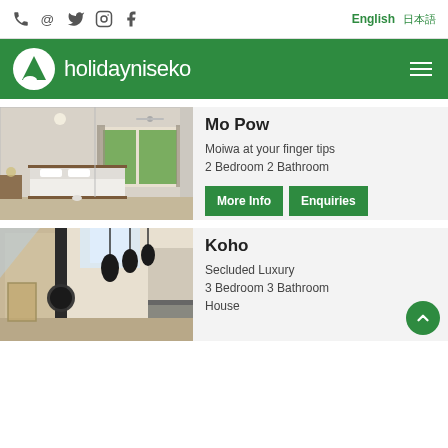@ Twitter Instagram Facebook | English 日本語
[Figure (logo): Holiday Niseko logo with white mountain icon on green background and handwritten-style white text 'holidayniseko']
[Figure (photo): Interior bedroom photo showing a white bed, ceiling fan, and large windows with green trees outside]
Mo Pow
Moiwa at your finger tips
2 Bedroom 2 Bathroom
[Figure (photo): Interior living/kitchen area photo showing pendant lights, a wood stove, and high ceilings with natural light]
Koho
Secluded Luxury
3 Bedroom 3 Bathroom
House